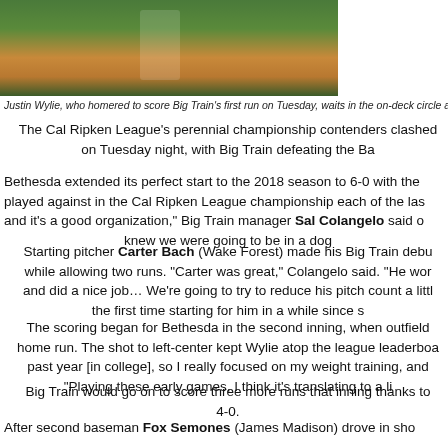[Figure (photo): Baseball player waiting in the on-deck circle at a baseball field, green field and dirt infield visible]
Justin Wylie, who homered to score Big Train's first run on Tuesday, waits in the on-deck circle as ou
The Cal Ripken League's perennial championship contenders clashed on Tuesday night, with Big Train defeating the Ba
Bethesda extended its perfect start to the 2018 season to 6-0 with the played against in the Cal Ripken League championship each of the las and it's a good organization," Big Train manager Sal Colangelo said o knew we were going to be in a dog
Starting pitcher Carter Bach (Wake Forest) made his Big Train debu while allowing two runs. "Carter was great," Colangelo said. "He wor and did a nice job… We're going to try to reduce his pitch count a littl the first time starting for him in a while since s
The scoring began for Bethesda in the second inning, when outfield home run. The shot to left-center kept Wylie atop the league leaderboa past year [in college], so I really focused on my weight training, and "Playing these early games, I think it's translating to a li
Big Train would go on to score three more runs that inning thanks to 4-0.
After second baseman Fox Semones (James Madison) drove in sho Redbirds cut the lead back to four before Bethesda tacked on two mo Train's bullpen would protect that lead for the rest of the ballgame
Right-hander Jack Nelson of Morgan State pitched into the game th